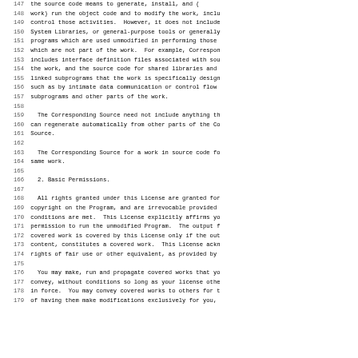Lines 147-179 of a legal license document (GPL v3 or similar). Content includes lines about Corresponding Source, Basic Permissions, and rights granted under the License.